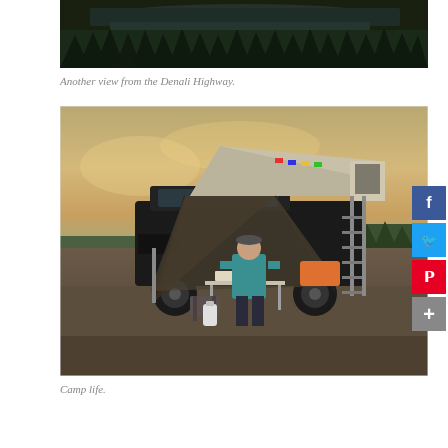[Figure (photo): Aerial/landscape view of the Denali Highway with a lake, river, and dense evergreen forest visible. Dark sky and water reflection. Partial view as top portion of image.]
Another view from the Denali Highway.
[Figure (photo): A person in a teal/blue jacket standing at a camping table set up under a truck awning. A rooftop tent is mounted on the truck roof. A ladder leads up to the tent. Camping gear and supplies are visible. Overcast sky with hints of orange/yellow. A lake and forested hills in the background.]
Camp life.